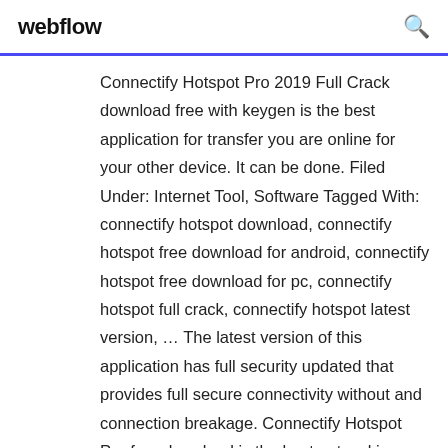webflow
Connectify Hotspot Pro 2019 Full Crack download free with keygen is the best application for transfer you are online for your other device. It can be done. Filed Under: Internet Tool, Software Tagged With: connectify hotspot download, connectify hotspot free download for android, connectify hotspot free download for pc, connectify hotspot full crack, connectify hotspot latest version, … The latest version of this application has full security updated that provides full secure connectivity without and connection breakage. Connectify Hotspot Pro free download is the best networking software. It